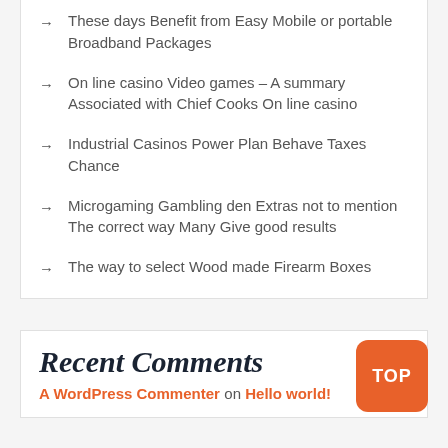→ These days Benefit from Easy Mobile or portable Broadband Packages
→ On line casino Video games – A summary Associated with Chief Cooks On line casino
→ Industrial Casinos Power Plan Behave Taxes Chance
→ Microgaming Gambling den Extras not to mention The correct way Many Give good results
→ The way to select Wood made Firearm Boxes
Recent Comments
A WordPress Commenter on Hello world!